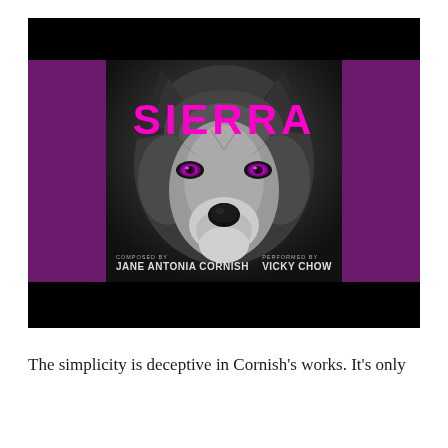[Figure (illustration): Album cover for 'Sierra' — a close-up black-and-white wolf face with glowing magenta/pink eyes against a dark background, flanked by purple side panels, with a black bar at top and bottom. Title 'SIERRA' in large magenta bold text overlaid on the wolf. Credits below: 'COMPOSED BY JANE ANTONIA CORNISH' and 'PERFORMED BY VICKY CHOW' in white text.]
The simplicity is deceptive in Cornish's works. It's only